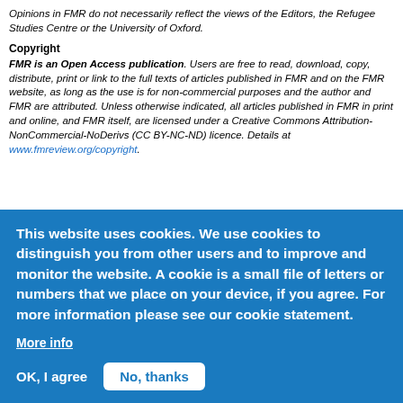Opinions in FMR do not necessarily reflect the views of the Editors, the Refugee Studies Centre or the University of Oxford.
Copyright
FMR is an Open Access publication. Users are free to read, download, copy, distribute, print or link to the full texts of articles published in FMR and on the FMR website, as long as the use is for non-commercial purposes and the author and FMR are attributed. Unless otherwise indicated, all articles published in FMR in print and online, and FMR itself, are licensed under a Creative Commons Attribution-NonCommercial-NoDerivs (CC BY-NC-ND) licence. Details at www.fmreview.org/copyright.
This website uses cookies. We use cookies to distinguish you from other users and to improve and monitor the website. A cookie is a small file of letters or numbers that we place on your device, if you agree. For more information please see our cookie statement.
More info
OK, I agree
No, thanks